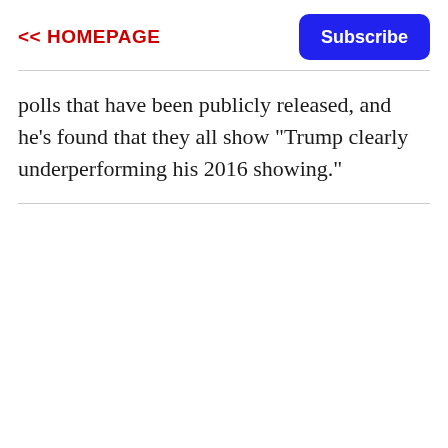<< HOMEPAGE
polls that have been publicly released, and he's found that they all show "Trump clearly underperforming his 2016 showing."